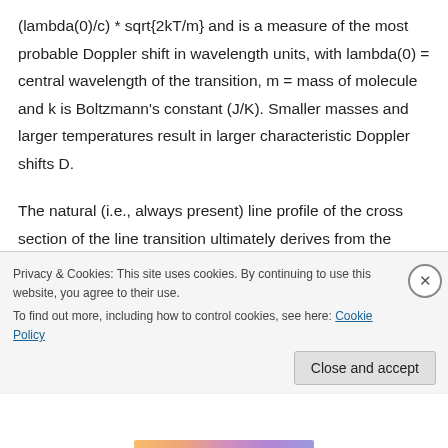(lambda(0)/c) * sqrt{2kT/m} and is a measure of the most probable Doppler shift in wavelength units, with lambda(0) = central wavelength of the transition, m = mass of molecule and k is Boltzmann's constant (J/K). Smaller masses and larger temperatures result in larger characteristic Doppler shifts D.
The natural (i.e., always present) line profile of the cross section of the line transition ultimately derives from the Heisenberg Uncertainty
Privacy & Cookies: This site uses cookies. By continuing to use this website, you agree to their use.
To find out more, including how to control cookies, see here: Cookie Policy